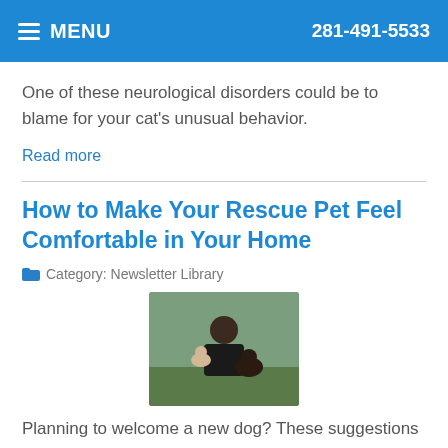MENU   281-491-5533
One of these neurological disorders could be to blame for your cat's unusual behavior.
Read more
How to Make Your Rescue Pet Feel Comfortable in Your Home
Category: Newsletter Library
[Figure (photo): A woman sitting outdoors with two dogs, one small light-colored dog and one dark-colored dog]
Planning to welcome a new dog? These suggestions